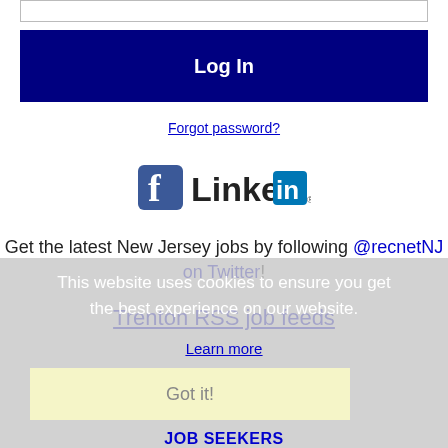[Figure (screenshot): Input text box at the top of the page]
Log In
Forgot password?
[Figure (logo): Facebook and LinkedIn social login icons]
Get the latest New Jersey jobs by following @recnetNJ on Twitter!
Trenton RSS job feeds
This website uses cookies to ensure you get the best experience on our website.
Learn more
Got it!
JOB SEEKERS